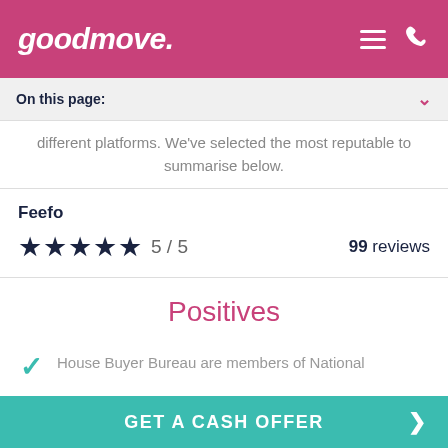goodmove.
On this page:
different platforms. We've selected the most reputable to summarise below.
Feefo
5 / 5  99 reviews
Positives
House Buyer Bureau are members of National
GET A CASH OFFER